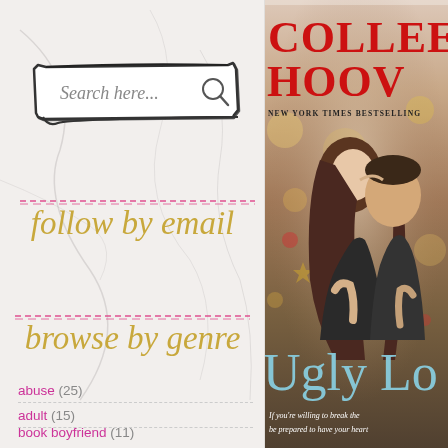[Figure (screenshot): Search box with hand-drawn border style, text 'Search here...' with magnifier icon, on marble background]
[Figure (illustration): Pink dashed decorative divider line]
follow by email
[Figure (illustration): Pink dashed decorative divider line]
browse by genre
abuse (25)
adult (15)
book boyfriend (11)
[Figure (photo): Book cover of 'Ugly Love' by Colleen Hoover. Shows couple (woman with brown hair and man) close together in romantic pose. Red bold text reads 'COLLEE' and 'HOOV' at top (cropped). 'NEW YORK TIMES BESTSELLING' in small caps. Title 'Ugly Lo' in light blue script at bottom. Tagline reads 'If you're willing to break the... be prepared to have your heart...']